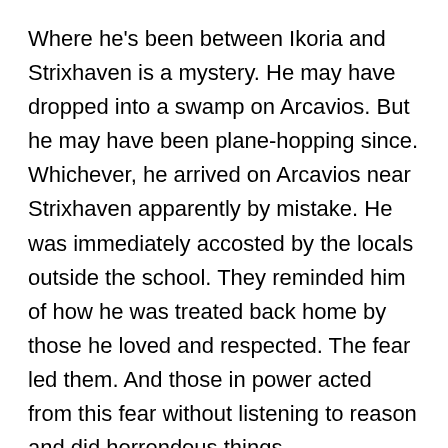Where he's been between Ikoria and Strixhaven is a mystery. He may have dropped into a swamp on Arcavios. But he may have been plane-hopping since. Whichever, he arrived on Arcavios near Strixhaven apparently by mistake. He was immediately accosted by the locals outside the school. They reminded him of how he was treated back home by those he loved and respected. The fear led them. And those in power acted from this fear without listening to reason and did horrendous things.
He's immediately set against the status quo; just like Ikoria. And decides that "If everyone who doesn't play by the rules here is an Oriq, maybe I'm one of them after all". This really sets the story in motion. Lukka seeks out the Oriq, a mysterious clan lead by